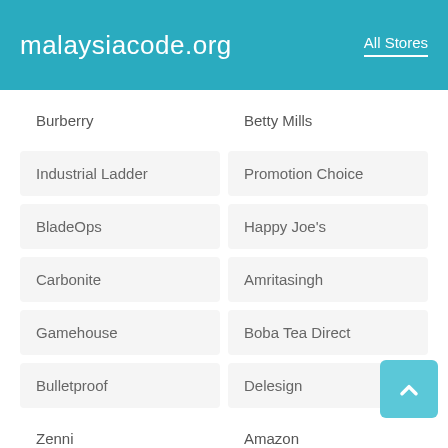malaysiacode.org    All Stores
Burberry
Betty Mills
Industrial Ladder
Promotion Choice
BladeOps
Happy Joe's
Carbonite
Amritasingh
Gamehouse
Boba Tea Direct
Bulletproof
Delesign
Zenni
Amazon
Vauxhall
Kickers